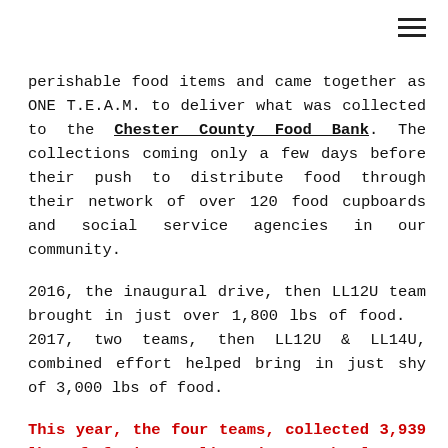perishable food items and came together as ONE T.E.A.M. to deliver what was collected to the Chester County Food Bank. The collections coming only a few days before their push to distribute food through their network of over 120 food cupboards and social service agencies in our community.
2016, the inaugural drive, then LL12U team brought in just over 1,800 lbs of food.  2017, two teams, then LL12U & LL14U, combined effort helped bring in just shy of 3,000 lbs of food.
This year, the four teams, collected 3,939 lbs of food, totaling the CCFB's largest one day collection of the season.